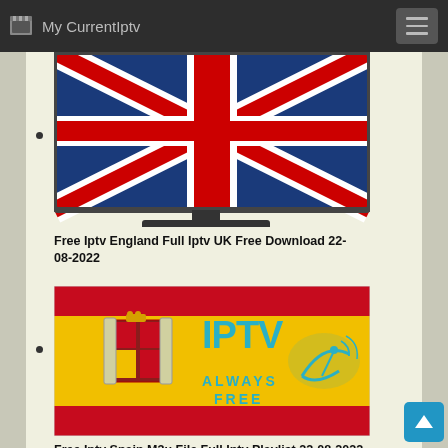My CurrentIptv
[Figure (photo): A TV screen displaying the UK Union Jack flag, with a TV stand below it]
Free Iptv England Full Iptv UK Free Download 22-08-2022
[Figure (photo): An image with the Spanish flag (red and yellow) background, featuring the Spanish coat of arms and the text 'IPTV ALWAYS FREE' with a satellite dish icon]
Free Iptv Spain M3u File Full Iptv Playlist 22-08-2022